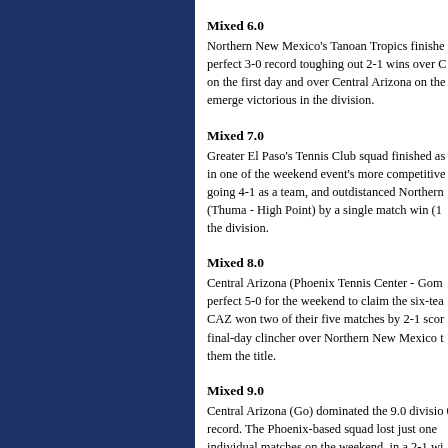Mixed 6.0
Northern New Mexico's Tanoan Tropics finished with a perfect 3-0 record toughing out 2-1 wins over C on the first day and over Central Arizona on the emerge victorious in the division.
Mixed 7.0
Greater El Paso's Tennis Club squad finished as in one of the weekend event's more competitive going 4-1 as a team, and outdistanced Northern (Thuma - High Point) by a single match win (1 the division.
Mixed 8.0
Central Arizona (Phoenix Tennis Center - Gom perfect 5-0 for the weekend to claim the six-tea CAZ won two of their five matches by 2-1 scor final-day clincher over Northern New Mexico t them the title.
Mixed 9.0
Central Arizona (Go) dominated the 9.0 divisio 0 record. The Phoenix-based squad lost just one individual matches on the weekend, in a 2-1 wi
SENIOR